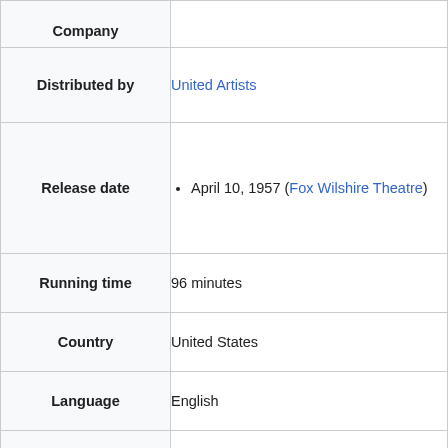| Company |  |
| --- | --- |
| Distributed by | United Artists |
| Release date | April 10, 1957 (Fox Wilshire Theatre) |
| Running time | 96 minutes |
| Country | United States |
| Language | English |
| Budget | $340,000 |
| Box office | $2,000,000 (rentals) |